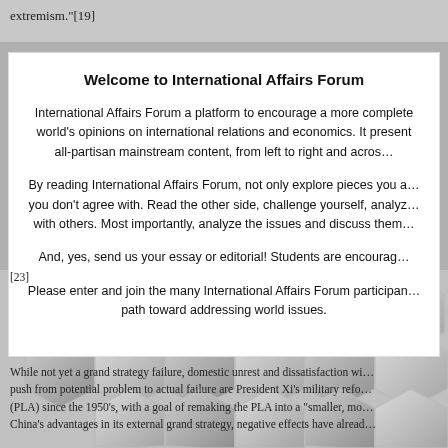extremism."[19]
Welcome to International Affairs Forum
International Affairs Forum a platform to encourage a more complete world's opinions on international relations and economics. It presents all-partisan mainstream content, from left to right and acros…
By reading International Affairs Forum, not only explore pieces you a… you don't agree with. Read the other side, challenge yourself, analyz… with others. Most importantly, analyze the issues and discuss them…
And, yes, send us your essay or editorial! Students are encourag…
Please enter and join the many International Affairs Forum participan… path toward addressing world issues.
[23]
While not yet a grand strategy failure, domestic unrest and dissatisfaction wi… push from potential problem to actual failure are President Xi's military refo… (PLA) since the 1950's, with a goal of remaking the PLA into a "smaller, mo… China's advantages in its external grand strategy, negative effects have alread…